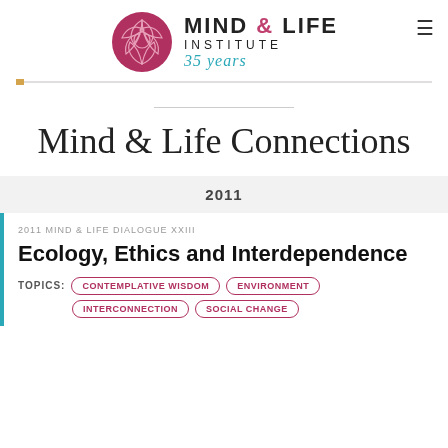[Figure (logo): Mind & Life Institute 35 years logo with circular floral emblem in dark red/maroon, text MIND & LIFE INSTITUTE in bold, and '35 years' in teal cursive script]
Mind & Life Connections
2011
2011 MIND & LIFE DIALOGUE XXIII
Ecology, Ethics and Interdependence
TOPICS: CONTEMPLATIVE WISDOM | ENVIRONMENT | INTERCONNECTION | SOCIAL CHANGE